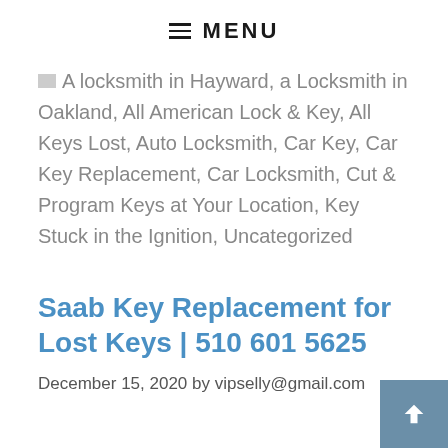≡ MENU
A locksmith in Hayward, a Locksmith in Oakland, All American Lock & Key, All Keys Lost, Auto Locksmith, Car Key, Car Key Replacement, Car Locksmith, Cut & Program Keys at Your Location, Key Stuck in the Ignition, Uncategorized
Saab Key Replacement for Lost Keys | 510 601 5625
December 15, 2020 by vipselly@gmail.com